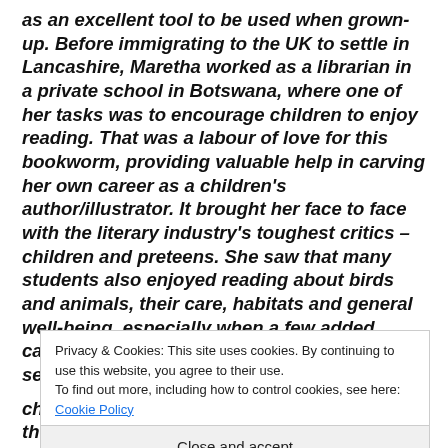as an excellent tool to be used when grown-up. Before immigrating to the UK to settle in Lancashire, Maretha worked as a librarian in a private school in Botswana, where one of her tasks was to encourage children to enjoy reading. That was a labour of love for this bookworm, providing valuable help in carving her own career as a children's author/illustrator. It brought her face to face with the literary industry's toughest critics – children and preteens. She saw that many students also enjoyed reading about birds and animals, their care, habitats and general well-being, especially when a few added catchy rhymes here and there made reading sessions
Privacy & Cookies: This site uses cookies. By continuing to use this website, you agree to their use.
To find out more, including how to control cookies, see here: Cookie Policy
Close and accept
characteristics. For example, the character of the working-dog hero